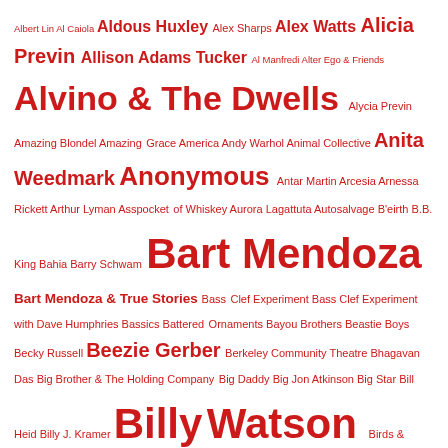Tag cloud listing artists/names alphabetically including Albert Lin, Al Caiola, Aldous Huxley, Alex Sharps, Alex Watts, Alicia Previn, Allison Adams Tucker, Al Manfredi, Alter Ego & Friends, Alvino & The Dwells, Alycia Previn, Amazing Blondel, Amazing Grace, America, Andy Warhol, Animal Collective, Anita Weedmark, Anonymous, Antar Martin, Arcesia, Arnessa Rickett, Arthur Lyman, Asspocket of Whiskey, Aurora Lagattuta, Autosalvage, B'eirth, B.B. King, Bahia, Barry Schwam, Bart Mendoza, Bart Mendoza & True Stories, Bass Clef Experiment, Bass Clef Experiment with Dave Humphries, Bassics, Battered Ornaments, Bayou Brothers, Beastie Boys, Becky Russell, Beezie Gerber, Berkeley Community Theatre, Bhagavan Das, Big Brother & The Holding Company, Big Daddy, Big Jon Atkinson, Big Star, Bill Heid, Billy J. Kramer, Billy Watson, Birds & Arrows, Black Moth Super Rainbow, Blindspot Records, Blood Sweat &Tears, Blue Cheer, Blue Frog Trio, Blue Velvet, Bob Boss, Bob Dylan, Bob Magnussen, Boone Reid, Brad Rose, Brogue Wave, Brother Love, Brothers of the Occult Sisterhood, Bruce Frye, Bruce Stewart, Brute Force, Bryna Golden, Bubba McCoy, Buck Owens & The Buckaroos, Buddy Guy, Burt